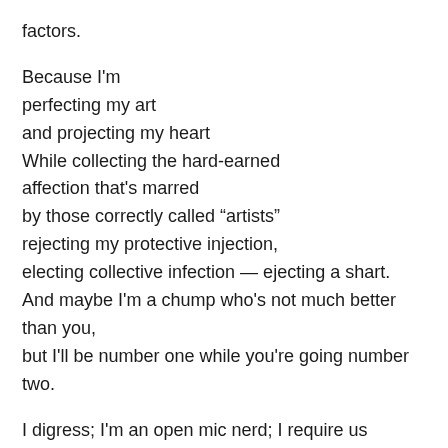factors.

Because I'm
perfecting my art
and projecting my heart
While collecting the hard-earned
affection that's marred
by those correctly called “artists”
rejecting my protective injection,
electing collective infection — ejecting a shart.
And maybe I'm a chump who's not much better than you,
but I'll be number one while you're going number two.

I digress; I'm an open mic nerd; I require us
to weary of hearing Free Bird, Miley Cyrus.
When merely a chord or a word can rewire us
and everyone's here to be heard and inspire us